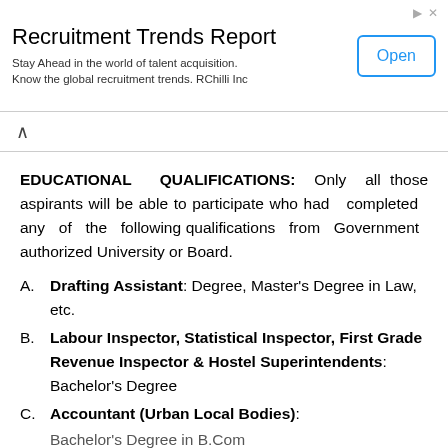[Figure (screenshot): Advertisement banner for Recruitment Trends Report by RChilli Inc with an 'Open' button]
EDUCATIONAL QUALIFICATIONS: Only all those aspirants will be able to participate who had completed any of the following qualifications from Government authorized University or Board.
A. Drafting Assistant: Degree, Master's Degree in Law, etc.
B. Labour Inspector, Statistical Inspector, First Grade Revenue Inspector & Hostel Superintendents: Bachelor's Degree
C. Accountant (Urban Local Bodies): Bachelor's Degree in B.Com